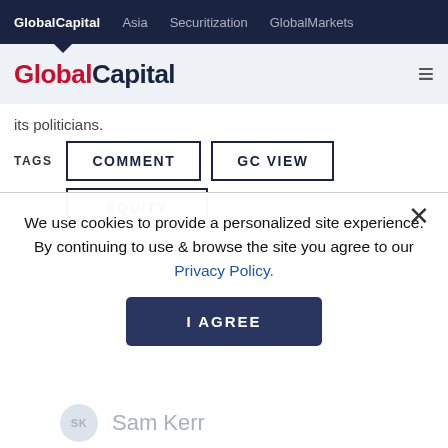GlobalCapital  Asia  Securitization  GlobalMarkets
[Figure (logo): GlobalCapital logo with hamburger menu icon]
its politicians.
TAGS  COMMENT  GC VIEW  EQUITY
We use cookies to provide a personalized site experience.
By continuing to use & browse the site you agree to our Privacy Policy.
I AGREE
COMMENT EM AND THE COVER
SK  Sam Kerr